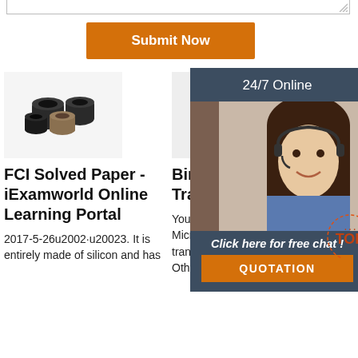[Figure (screenshot): Top border of a text input area (textarea bottom edge with resize handle)]
[Figure (other): Orange Submit Now button]
[Figure (photo): Product photo: small black cylindrical socket pieces grouped together]
FCI Solved Paper - iExamworld Online Learning Portal
2017-5-26u2002·u20023. It is entirely made of silicon and has
[Figure (photo): Product photo: dark grey/black rectangular box with angular top]
Bing Microsoft Translator
Your submission will be used by Microsoft translator to improve translation quality. Thank you! Other ways to say.. How
WOR
2018-1u2002·u20021u2002- Free ebook download as Text File (.txt), PDF File (.pdf) or read book online for free.
[Figure (photo): 24/7 Online chat support agent: woman with headset smiling, overlaid with dark panel, Click here for free chat and QUOTATION button]